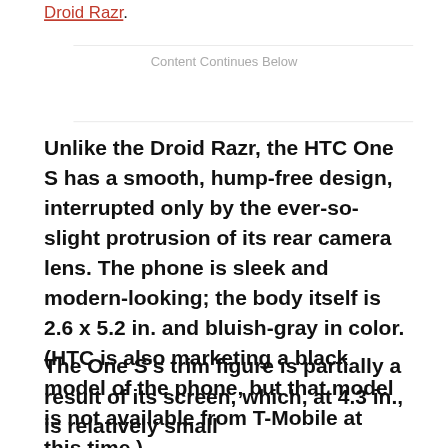Droid Razr.
Content Continues Below
Unlike the Droid Razr, the HTC One S has a smooth, hump-free design, interrupted only by the ever-so-slight protrusion of its rear camera lens. The phone is sleek and modern-looking; the body itself is 2.6 x 5.2 in. and bluish-gray in color. (HTC is also marketing a black model of the phone, but that model is not available from T-Mobile at this time.)
The One S's trim figure is partially a result of its screen, which, at 4.3 in., is relatively small